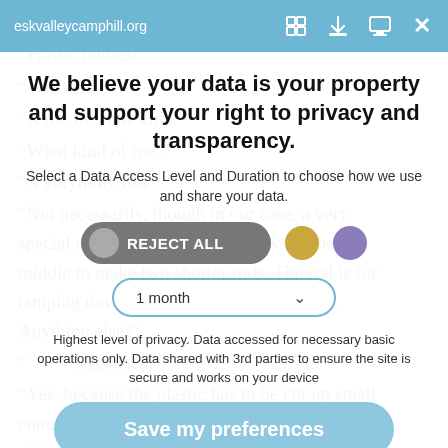eskvalleycamphill.org
[Figure (screenshot): Background page text visible through overlay, showing dialogue about plastic bottles and eurythmy rod]
We believe your data is your property and support your right to privacy and transparency.
Select a Data Access Level and Duration to choose how we use and share your data.
[Figure (infographic): REJECT ALL toggle button (grey), gold circle dot, purple circle dot]
[Figure (infographic): 1 month dropdown selector]
Highest level of privacy. Data accessed for necessary basic operations only. Data shared with 3rd parties to ensure the site is secure and works on your device
Save my preferences